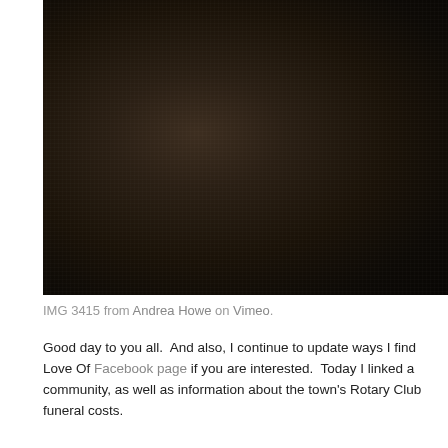[Figure (photo): Dark, nearly black photograph showing what appears to be a close-up of a person or fabric, very dimly lit with dark brown and black tones]
IMG 3415 from Andrea Howe on Vimeo.
Good day to you all.  And also, I continue to update ways I find Love Of Facebook page if you are interested.  Today I linked a community, as well as information about the town's Rotary Club funeral costs.